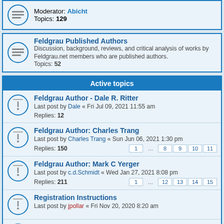Moderator: Abicht
Topics: 129
Feldgrau Published Authors
Discussion, background, reviews, and critical analysis of works by Feldgrau.net members who are published authors. Topics: 52
Active topics
Feldgrau Author - Dale R. Ritter
Last post by Dale « Fri Jul 09, 2021 11:55 am
Replies: 12
Feldgrau Author: Charles Trang
Last post by Charles Trang « Sun Jun 06, 2021 1:30 pm
Replies: 150
Feldgrau Author: Mark C Yerger
Last post by c.d.Schmidt « Wed Jan 27, 2021 8:08 pm
Replies: 211
Registration Instructions
Last post by jpollar « Fri Nov 20, 2020 8:20 am
Welcome to the forum, tell us about yourself!
Last post by luckyeddee1944 « Thu Oct 11, 2018 8:23 am
Replies: 168
Feldgrau Author: Doug Nash
Last post by Doug Nash « Tue Sep 04, 2018 8:43 am
Replies: 48